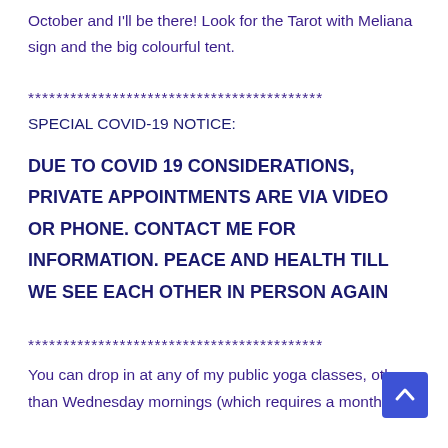October and I'll be there! Look for the Tarot with Meliana sign and the big colourful tent.
******************************************
SPECIAL COVID-19 NOTICE:
DUE TO COVID 19 CONSIDERATIONS, PRIVATE APPOINTMENTS ARE VIA VIDEO OR PHONE. CONTACT ME FOR INFORMATION. PEACE AND HEALTH TILL WE SEE EACH OTHER IN PERSON AGAIN
******************************************
You can drop in at any of my public yoga classes, other than Wednesday mornings (which requires a monthly